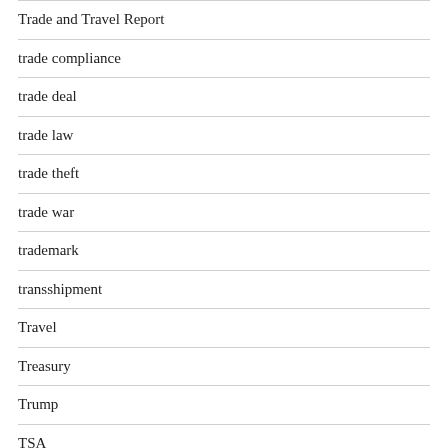Trade and Travel Report
trade compliance
trade deal
trade law
trade theft
trade war
trademark
transshipment
Travel
Treasury
Trump
TSA
Turkey
Turkmenistan
U.S. Customs and Border Protection